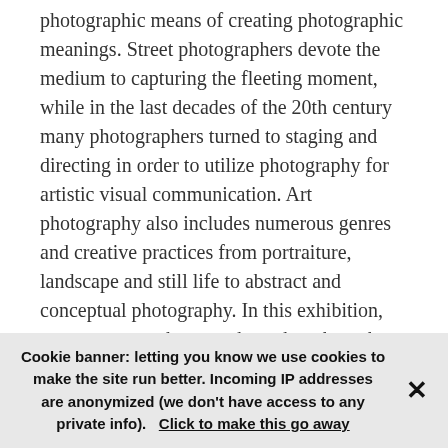photographic means of creating photographic meanings. Street photographers devote the medium to capturing the fleeting moment, while in the last decades of the 20th century many photographers turned to staging and directing in order to utilize photography for artistic visual communication. Art photography also includes numerous genres and creative practices from portraiture, landscape and still life to abstract and conceptual photography. In this exhibition, contemporary photographers show how they understand art photography in the 21st century.
Il Centro Sperimentale di Fotografia Adams (The Experimental Center of Photography) – CSF ADAMS is a renowned Italian centre for
Cookie banner: letting you know we use cookies to make the site run better. Incoming IP addresses are anonymized (we don't have access to any private info).   Click to make this go away